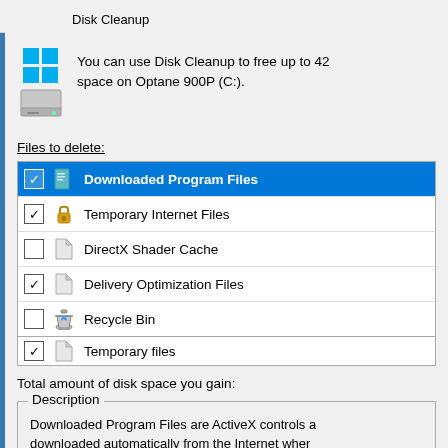Disk Cleanup
You can use Disk Cleanup to free up to 42 space on Optane 900P (C:).
Files to delete:
Downloaded Program Files
Temporary Internet Files
DirectX Shader Cache
Delivery Optimization Files
Recycle Bin
Temporary files
Total amount of disk space you gain:
Description
Downloaded Program Files are ActiveX controls a downloaded automatically from the Internet when pages. They are temporarily stored in the Downlo